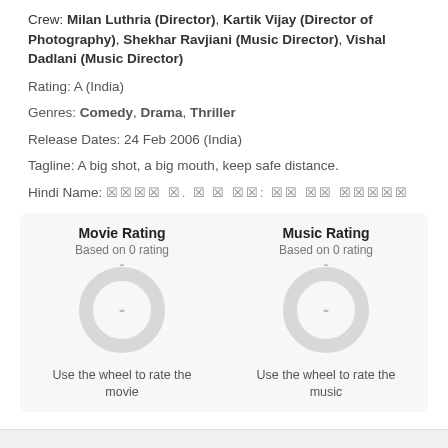Crew: Milan Luthria (Director), Kartik Vijay (Director of Photography), Shekhar Ravjiani (Music Director), Vishal Dadlani (Music Director)
Rating: A (India)
Genres: Comedy, Drama, Thriller
Release Dates: 24 Feb 2006 (India)
Tagline: A big shot, a big mouth, keep safe distance.
Hindi Name: [Hindi script]
[Figure (other): Movie Rating donut chart placeholder showing '-' with label 'Based on 0 rating' and instruction 'Use the wheel to rate the movie']
[Figure (other): Music Rating donut chart placeholder showing '-' with label 'Based on 0 rating' and instruction 'Use the wheel to rate the music']